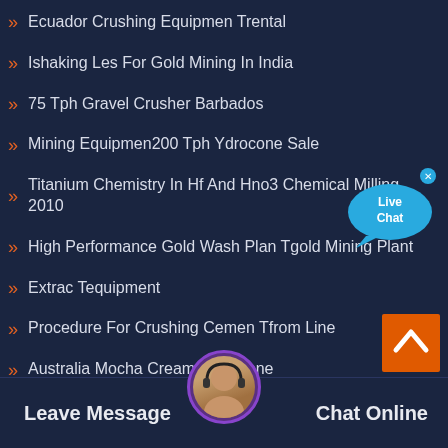Ecuador Crushing Equipmen Trental
Ishaking Les For Gold Mining In India
75 Tph Gravel Crusher Barbados
Mining Equipmen200 Tph Ydrocone Sale
Titanium Chemistry In Hf And Hno3 Chemical Milling 2010
High Performance Gold Wash Plan Tgold Mining Plant
Extrac Tequipment
Procedure For Crushing Cemen Tfrom Line
Australia Mocha Cream Limestone
Equipment Used In Iron Ore ...g
High Energy Ball Milling Machine Gold Grinding Ball Mill
[Figure (other): Live Chat bubble widget in cyan/blue color with 'Live Chat' text]
[Figure (other): Orange scroll-to-top button with upward chevron]
[Figure (other): Customer service avatar with headset at bottom center]
Leave Message
Chat Online